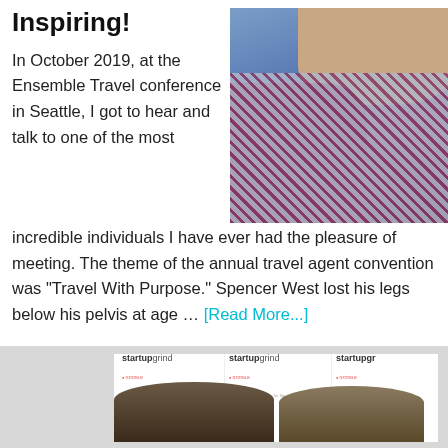Inspiring!
[Figure (photo): Close-up photo of a man with beard wearing a patterned shirt and dark red/maroon jacket, shot against a blue/purple background at a conference.]
In October 2019, at the Ensemble Travel conference in Seattle, I got to hear and talk to one of the most incredible individuals I have ever had the pleasure of meeting. The theme of the annual travel agent convention was "Travel With Purpose." Spencer West lost his legs below his pelvis at age … [Read More...]
[Figure (photo): Photo of two people standing in front of Startup Grind branded banners/signs at an event.]